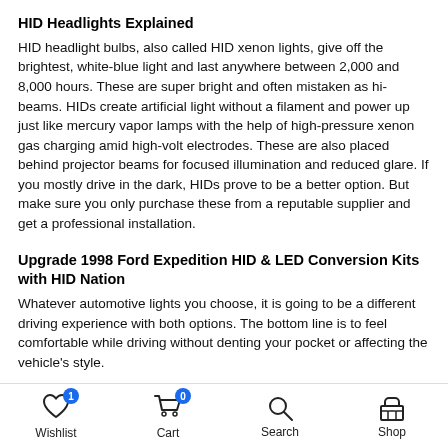HID Headlights Explained
HID headlight bulbs, also called HID xenon lights, give off the brightest, white-blue light and last anywhere between 2,000 and 8,000 hours. These are super bright and often mistaken as hi-beams. HIDs create artificial light without a filament and power up just like mercury vapor lamps with the help of high-pressure xenon gas charging amid high-volt electrodes. These are also placed behind projector beams for focused illumination and reduced glare. If you mostly drive in the dark, HIDs prove to be a better option. But make sure you only purchase these from a reputable supplier and get a professional installation.
Upgrade 1998 Ford Expedition HID & LED Conversion Kits with HID Nation
Whatever automotive lights you choose, it is going to be a different driving experience with both options. The bottom line is to feel comfortable while driving without denting your pocket or affecting the vehicle's style.
At HID Nation, we offer top-of-the-line LED kits and HID conversion kits for auto enthusiasts to upgrade or convert headlights at the most reasonable prices. If you are looking to upgrade, please get in touch with
Wishlist  Cart  Search  Shop